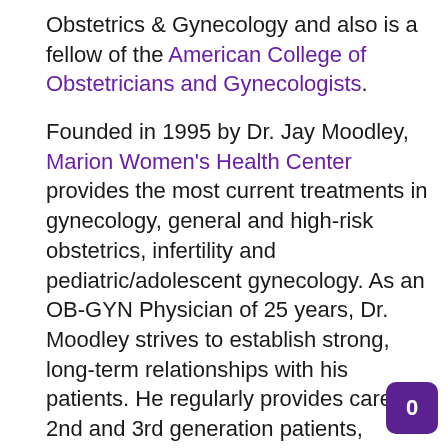Obstetrics & Gynecology and also is a fellow of the American College of Obstetricians and Gynecologists.
Founded in 1995 by Dr. Jay Moodley, Marion Women's Health Center provides the most current treatments in gynecology, general and high-risk obstetrics, infertility and pediatric/adolescent gynecology. As an OB-GYN Physician of 25 years, Dr. Moodley strives to establish strong, long-term relationships with his patients. He regularly provides care for 2nd and 3rd generation patients, delivering thousands of babies within the community of Marion.
He strongly believes in developing and nurturing long-term relationships with patients and as a result—2nd and 3rd generation families come to Marion Women's Health Center for their care. Dr. Moodley has welcomed thousands of happy, healthy babies into the Marion community and continues to passionately care for them